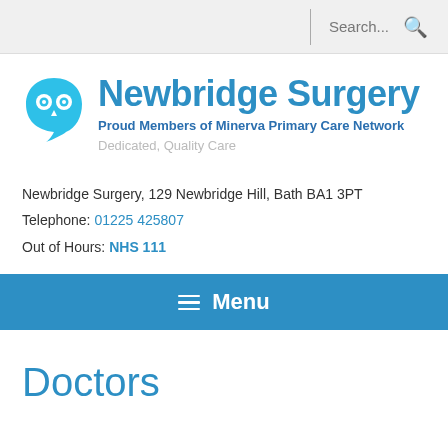Search...
[Figure (logo): Newbridge Surgery owl logo — a cyan speech-bubble shape with an owl face (two eyes and a beak)]
Newbridge Surgery
Proud Members of Minerva Primary Care Network
Dedicated, Quality Care
Newbridge Surgery, 129 Newbridge Hill, Bath BA1 3PT
Telephone: 01225 425807
Out of Hours: NHS 111
≡ Menu
Doctors